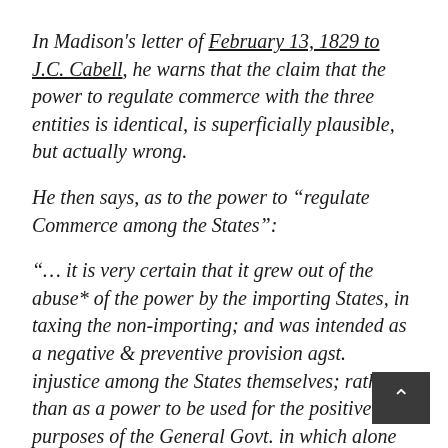In Madison's letter of February 13, 1829 to J.C. Cabell, he warns that the claim that the power to regulate commerce with the three entities is identical, is superficially plausible, but actually wrong.
He then says, as to the power to “regulate Commerce among the States”:
“… it is very certain that it grew out of the abuse* of the power by the importing States, in taxing the non-importing; and was intended as a negative & preventive provision agst. injustice among the States themselves; rather than as a power to be used for the positive purposes of the General Govt. in which alone however the remedial power could be lodged. And it will